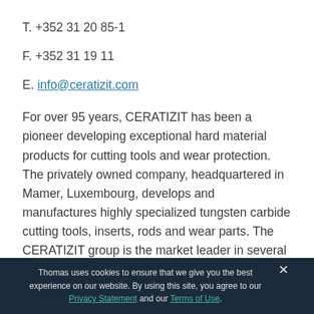T. +352 31 20 85-1
F. +352 31 19 11
E. info@ceratizit.com
For over 95 years, CERATIZIT has been a pioneer developing exceptional hard material products for cutting tools and wear protection. The privately owned company, headquartered in Mamer, Luxembourg, develops and manufactures highly specialized tungsten carbide cutting tools, inserts, rods and wear parts. The CERATIZIT group is the market leader in several wear part application areas and develops successful new types of hard metal, cermet and ceramic grades used for instance in the wood and
Thomas uses cookies to ensure that we give you the best experience on our website. By using this site, you agree to our Privacy Statement and our Terms of Use.